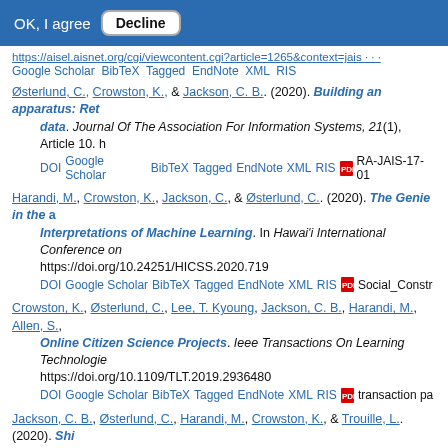OK, I agree  Decline
https://aisel.aisnet.org/cgi/viewcontent.cgi?article=1265&context=jais  Google Scholar  BibTeX  Tagged  EndNote  XML  RIS
Østerlund, C., Crowston, K., & Jackson, C. B.. (2020). Building an apparatus: Ret... data. Journal Of The Association For Information Systems, 21(1), Article 10. h... DOI  Google Scholar  BibTeX  Tagged  EndNote  XML  RIS  RA-JAIS-17-01...
Harandi, M., Crowston, K., Jackson, C., & Østerlund, C.. (2020). The Genie in the ... Interpretations of Machine Learning. In Hawai'i International Conference on... https://doi.org/10.24251/HICSS.2020.719  DOI  Google Scholar  BibTeX  Tagged  EndNote  XML  RIS  Social_Constr...
Crowston, K., Østerlund, C., Lee, T. Kyoung, Jackson, C. B., Harandi, M., Allen, S.,... Online Citizen Science Projects. Ieee Transactions On Learning Technologie... https://doi.org/10.1109/TLT.2019.2936480  DOI  Google Scholar  BibTeX  Tagged  EndNote  XML  RIS  transaction pa...
Jackson, C. B., Østerlund, C., Harandi, M., Crowston, K., & Trouille, L.. (2020). Shi... Online Citizen Science. Proceedings Of The Acm On Human-Computer Inte...  DOI  Google Scholar  BibTeX  Tagged  EndNote  XML  RIS  3392841.pdf (…
Jackson, C., Østerlund, C., Crowston, K., Harandi, M., Allen, S., Bahaadini, S., et al... Glitches using Machine-Learning-Guided Training. Computers In Human... https://doi.org/10.1016/j.chb.2019.106198